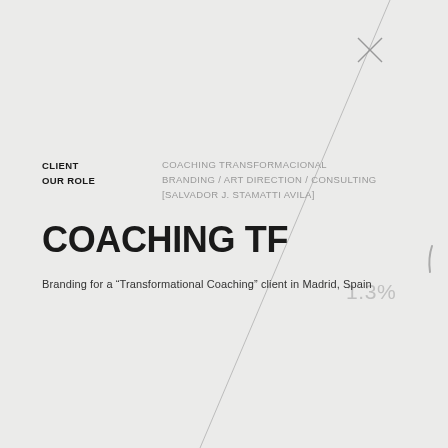[Figure (illustration): Decorative diagonal line extending from upper right area down through the page, with an X cross mark near the top right and a small curved mark on the right middle edge. Light gray graphic elements on off-white/light gray background.]
CLIENT  COACHING TRANSFORMACIONAL
OUR ROLE  BRANDING / ART DIRECTION / CONSULTING [SALVADOR J. STAMATTI AVILA]
COACHING TF
Branding for a “Transformational Coaching” client in Madrid, Spain